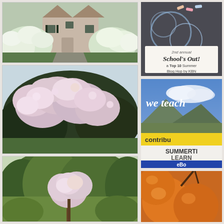[Figure (photo): White flowering shrubs in front of a grey house with conical roof and wooden gate]
[Figure (photo): Large rhododendron bush with pink-white blooms against dark green foliage]
[Figure (photo): Green trees with light pink blooming tree in a garden]
[Figure (photo): School's Out blog hop banner — chalk circles on pavement with pastel chalk pieces, text reads '2nd annual School's Out! a Top 10 Summer Blog Hop by KBN']
[Figure (photo): We teach contributor badge — blue sky with mountains, yellow banner reading 'contribu...' and text 'SUMMERTI LEARN eBo...']
[Figure (photo): Close-up of orange/yellow round fruits or vegetables]